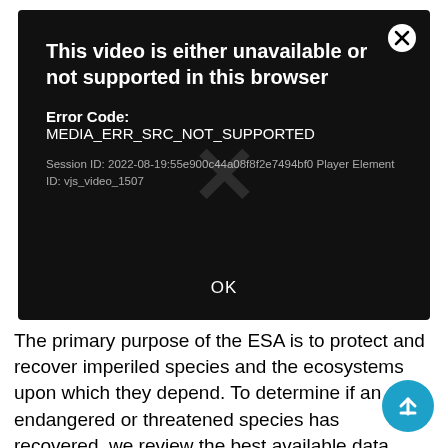[Figure (screenshot): Video player error dialog on a black background. Title: 'This video is either unavailable or not supported in this browser'. Error Code: MEDIA_ERR_SRC_NOT_SUPPORTED. Session ID: 2022-08-19:55e900c44a08f8f2e7494bf0 Player Element ID: vjs_video_1507. OK button centered. Close (X) button top right.]
The primary purpose of the ESA is to protect and recover imperiled species and the ecosystems upon which they depend. To determine if an endangered or threatened species has recovered, we review the best available data about the species. We evaluate that data and progress towards meeting the species recovery criteria to determine whether the species still meets the definition of a threatened or endangered species.